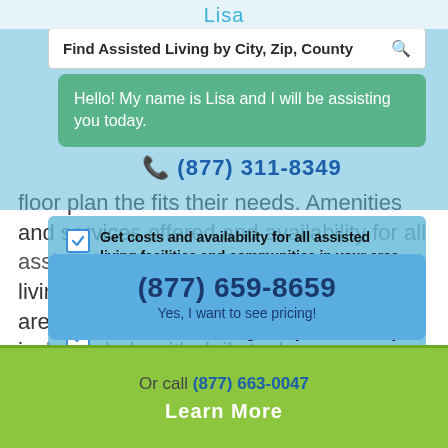Lisa
Find Assisted Living by City, Zip, County
Hello! My name is Lisa and I will be assisting you today.
☎ (877) 311-8349
floor plan the fits their needs. Amenities and services offered and availability for all assisted living facilities and communities in your area, includes help with daily tasks, assistance with moving around, housekeeping and more. Central Coast Rcfe Vii is able to care for up to 6 older adults as well as senior couples. California records indicate 405801888 license number for Central Coast Rcfe Vii.
Get costs and availability for all assisted living facilities and communities in your area
Save time with an easy-to-understand breakdown of all services, amenities and fees
Find the assisted living facility or community that is perfect for you
(877) 659-8659
Yes, I want to see pricing!
Or call (877) 663-0047
Learn More